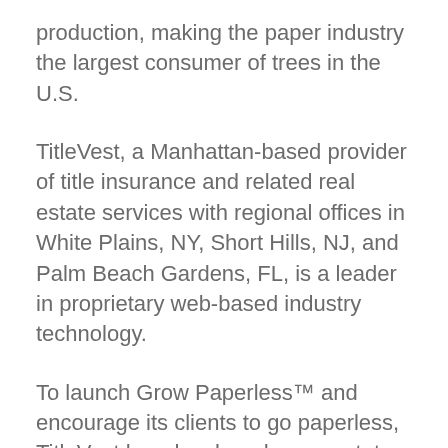production, making the paper industry the largest consumer of trees in the U.S.
TitleVest, a Manhattan-based provider of title insurance and related real estate services with regional offices in White Plains, NY, Short Hills, NJ, and Palm Beach Gardens, FL, is a leader in proprietary web-based industry technology.
To launch Grow Paperless™ and encourage its clients to go paperless, TitleVest has developed a new, state-of-the-art, interactive method of displaying its reports online. Each report is displayed as its own interactive website, offering clients unparalleled functionality